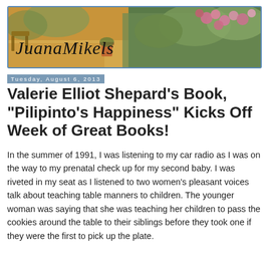[Figure (illustration): Blog header banner image for 'JuanaMikels' showing a garden scene with colorful flowers (pink roses, green foliage) and a stylized cursive script logo reading 'JuanaMikels', bordered in blue.]
Tuesday, August 6, 2013
Valerie Elliot Shepard's Book, "Pilipinto's Happiness" Kicks Off Week of Great Books!
In the summer of 1991, I was listening to my car radio as I was on the way to my prenatal check up for my second baby. I was riveted in my seat as I listened to two women's pleasant voices talk about teaching table manners to children. The younger woman was saying that she was teaching her children to pass the cookies around the table to their siblings before they took one if they were the first to pick up the plate.